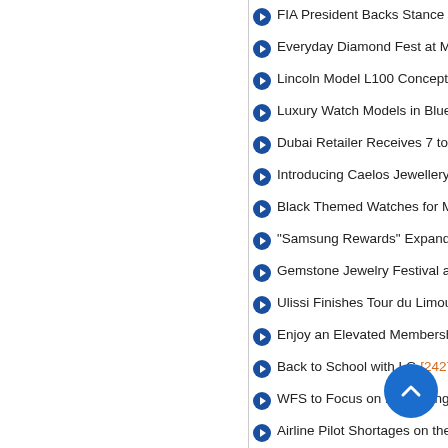FIA President Backs Stance on F1…
Everyday Diamond Fest at Malaba…
Lincoln Model L100 Concept Signa…
Luxury Watch Models in Blue [2989…]
Dubai Retailer Receives 7 tons of D…
Introducing Caelos Jewellery [2825…]
Black Themed Watches for Men in…
"Samsung Rewards" Expands Exc…
Gemstone Jewelry Festival at Mala…
Ulissi Finishes Tour du Limousin w…
Enjoy an Elevated Membership Ex…
Back to School with LG [2427-View…]
WFS to Focus on Reshaping Airlin…
Airline Pilot Shortages on the Horiz…
Women-Run, Women-D… llec…
Caribbean Airlines Cargo is now liv…